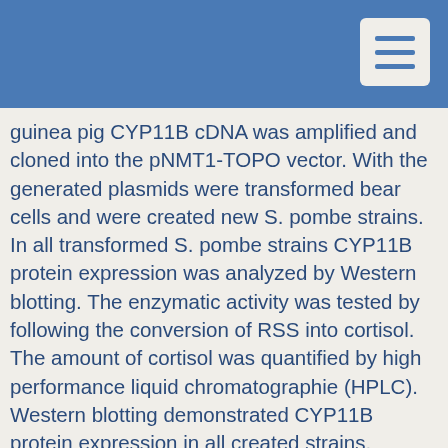guinea pig CYP11B cDNA was amplified and cloned into the pNMT1-TOPO vector. With the generated plasmids were transformed bear cells and were created new S. pombe strains. In all transformed S. pombe strains CYP11B protein expression was analyzed by Western blotting. The enzymatic activity was tested by following the conversion of RSS into cortisol. The amount of cortisol was quantified by high performance liquid chromatographie (HPLC). Western blotting demonstrated CYP11B protein expression in all created strains. Enzymes from the site specific mutagenesis were classified according to the location of mutations in various functionally structure domains. None of the strains with a mutation in the active core exhibited an increased enzymatic activity. Modifications within the redox partner binding domain caused inhomogeneous effects on the catalytic process. Some mutants showed a complete loss of